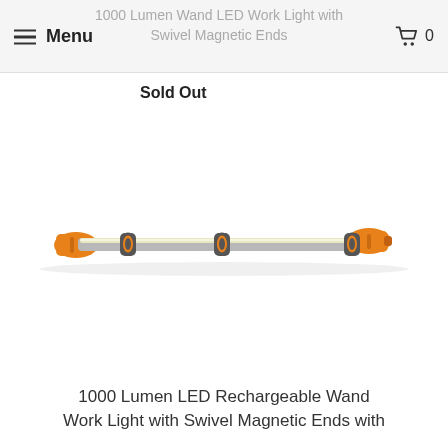Menu | 1000 Lumen Wand LED Work Light with Swivel Magnetic Ends | 0
Sold Out
[Figure (photo): Product photo of a 1000 Lumen LED Rechargeable Wand Work Light with Swivel Magnetic Ends. The light is a long slim wand shape with orange handles/caps on each end and dark gray accent rings. The central bar is silver/metallic with an LED strip along it.]
1000 Lumen LED Rechargeable Wand Work Light with Swivel Magnetic Ends with